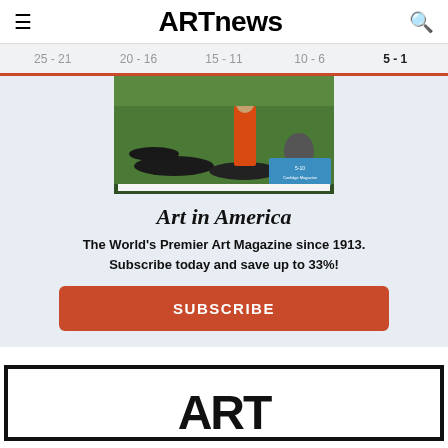ARTnews
25 - 21
20 - 16
15 - 11
10 - 6
5 - 1
[Figure (photo): Magazine cover showing people lying on grass with a woman in an orange dress]
Art in America
The World's Premier Art Magazine since 1913. Subscribe today and save up to 33%!
SUBSCRIBE
[Figure (logo): ARTnews logo in large black text inside a black bordered box]